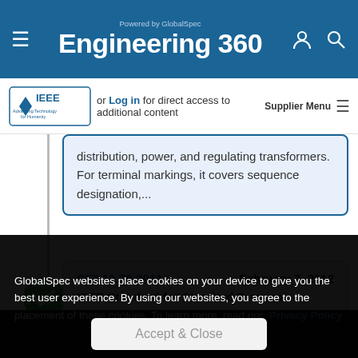Engineering 360 — Powered by GlobalSpec
or Log in for direct access to additional content — Supplier Menu
distribution, power, and regulating transformers. For terminal markings, it covers sequence designation,...
C57.12.70-2011    February 7, 2012
IEEE Standard for Standard Terminal
GlobalSpec websites place cookies on your device to give you the best user experience. By using our websites, you agree to the placement of these cookies. To learn more, read our Privacy Policy
Accept & Close